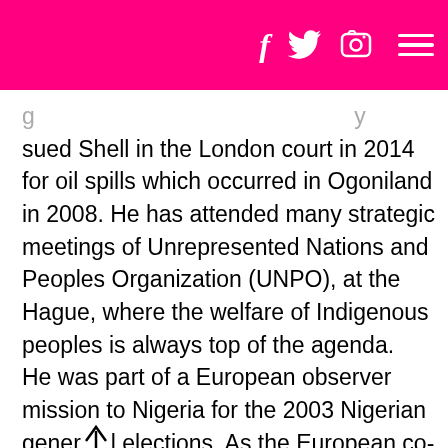f  [twitter icon]  [camera icon]  [hamburger menu]
sued Shell in the London court in 2014 for oil spills which occurred in Ogoniland in 2008. He has attended many strategic meetings of Unrepresented Nations and Peoples Organization (UNPO), at the Hague, where the welfare of Indigenous peoples is always top of the agenda. He was part of a European observer mission to Nigeria for the 2003 Nigerian general elections. As the European co-ordinator of the Movement for the Survival of the Ogoni People (MOSOP) from 1997 to 2019, Mr.